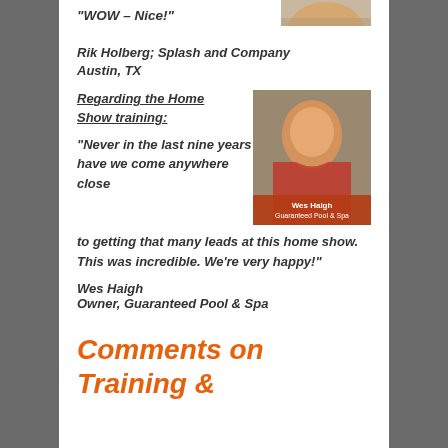“WOW – Nice!”
[Figure (photo): Partial photo of a person visible at top right]
Rik Holberg; Splash and Company
Austin, TX
Regarding the Home Show training:
[Figure (photo): Photo of Wes Haigh smiling, with caption 'Wes Haigh Guaranteed Pool & Spa' on a red/orange banner]
“Never in the last nine years have we come anywhere close to getting that many leads at this home show. This was incredible. We’re very happy!”
Wes Haigh
Owner, Guaranteed Pool & Spa
Comments on Training &